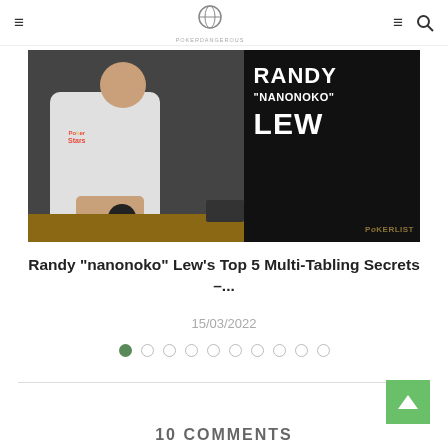≡  [logo]  ≡ 🔍
[Figure (photo): Randy 'nanonoko' Lew wearing a white PokerStars hoodie, sitting at a desk with a mouse. Right half has black background with white bold text: RANDY "NANONOKO" LEW, and PokerList watermark.]
Randy "nanonoko" Lew's Top 5 Multi-Tabling Secrets –...
15/03/2022
● ○ ○ ○ ○ ○ ○ ○ ○ ○
10 COMMENTS